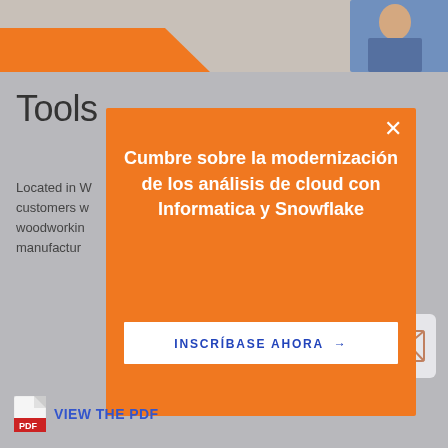[Figure (screenshot): Top banner image with orange diagonal shape on left and person in blue suit on right]
Tools
Located in W... provided customers w... ower tools, woodworkin... manufactur...
[Figure (illustration): Email/envelope icon in a rounded square button]
[Figure (infographic): Orange modal popup with close X button, headline: Cumbre sobre la modernización de los análisis de cloud con Informatica y Snowflake, and CTA button INSCRÍBASE AHORA →]
VIEW THE PDF